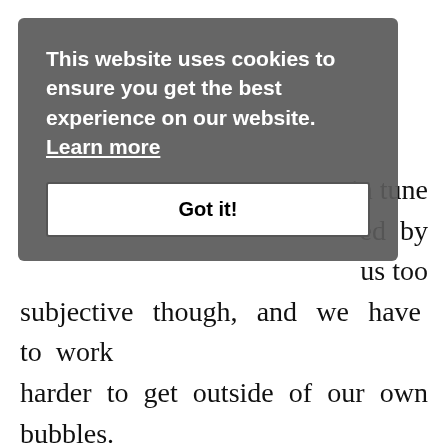in tune ed by us too subjective though, and we have to work harder to get outside of our own bubbles. Cancer full moons usually make us more emotional, more sensitive, and we need a lot more comfort and support. We want to spend more time with the people we know best, stay in our comfort zones, and do the things that
[Figure (screenshot): Cookie consent overlay banner with dark grey semi-transparent background. Contains bold white text: 'This website uses cookies to ensure you get the best experience on our website. Learn more' with 'Learn more' as an underlined link. Below is a white button with bold text 'Got it!']